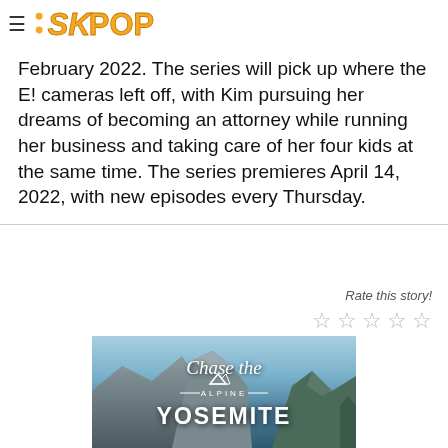SKPOP
February 2022. The series will pick up where the E! cameras left off, with Kim pursuing her dreams of becoming an attorney while running her business and taking care of her four kids at the same time. The series premieres April 14, 2022, with new episodes every Thursday.
Rate this story!
[Figure (other): Chase the Alpine - YOSEMITE advertisement with mountain background image]